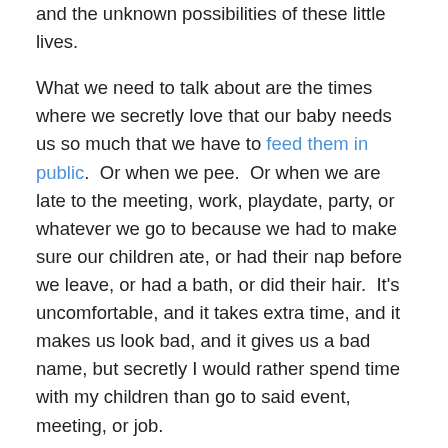and the unknown possibilities of these little lives.
What we need to talk about are the times where we secretly love that our baby needs us so much that we have to feed them in public.  Or when we pee.  Or when we are late to the meeting, work, playdate, party, or whatever we go to because we had to make sure our children ate, or had their nap before we leave, or had a bath, or did their hair.  It's uncomfortable, and it takes extra time, and it makes us look bad, and it gives us a bad name, but secretly I would rather spend time with my children than go to said event, meeting, or job.
To me, children are the best and worst version of ourselves.  At times when we are at our best, we can see the same flashes of this in our children, at times when we are at our worst, our children can amplify this feeling to